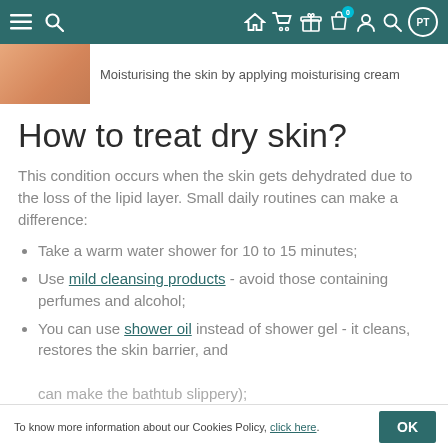[Figure (screenshot): Website navigation bar with teal background, hamburger menu, search, home, cart, gift, bag with badge 0, user, search, and PT icons]
Moisturising the skin by applying moisturising cream
How to treat dry skin?
This condition occurs when the skin gets dehydrated due to the loss of the lipid layer. Small daily routines can make a difference:
Take a warm water shower for 10 to 15 minutes;
Use mild cleansing products - avoid those containing perfumes and alcohol;
You can use shower oil instead of shower gel - it cleans, restores the skin barrier, and
can make the bathtub slippery);
To know more information about our Cookies Policy, click here.